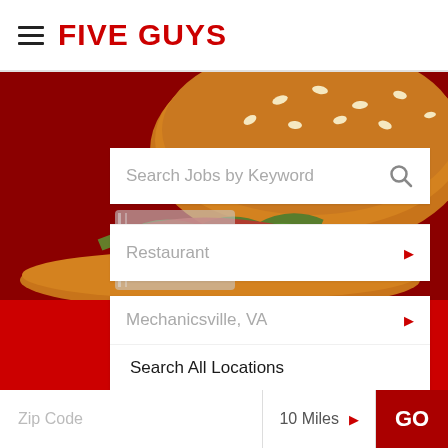[Figure (logo): Five Guys logo with hamburger menu icon and red FIVE GUYS text]
[Figure (photo): Close-up photo of a Five Guys burger with sesame seed bun on red background]
Search Jobs by Keyword
Restaurant
Mechanicsville, VA
Search All Locations
Virginia Jobs
Mechanicsville, VA Jobs
Zip Code
10 Miles
GO